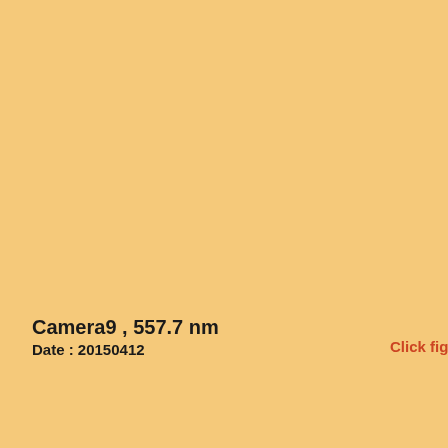Anot
Came
Came
Came
Came 589.3n
Came
Came
Came
Came
TILTI
TILTI
TILTI
Fabry-
FPI03
FPI04
Airglo
Airglo
Airglo
Airglo
Airglo
Camera9 , 557.7 nm
Date : 20150412
Click figure to enlarge